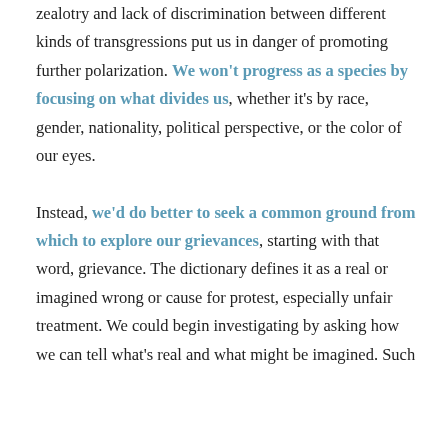zealotry and lack of discrimination between different kinds of transgressions put us in danger of promoting further polarization. We won't progress as a species by focusing on what divides us, whether it's by race, gender, nationality, political perspective, or the color of our eyes.

Instead, we'd do better to seek a common ground from which to explore our grievances, starting with that word, grievance. The dictionary defines it as a real or imagined wrong or cause for protest, especially unfair treatment. We could begin investigating by asking how we can tell what's real and what might be imagined. Such